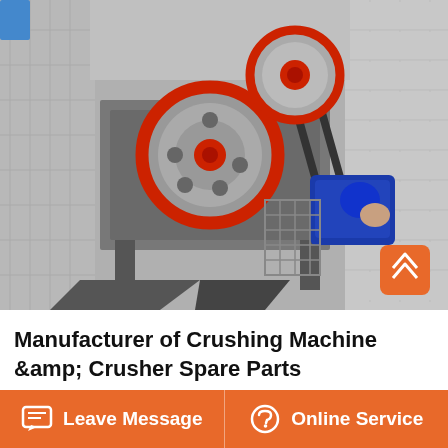[Figure (photo): Photograph of a jaw crushing machine installed between concrete walls, showing two red-rimmed flywheels, a blue motor, belt drive, and conveyor. An orange scroll-to-top button is visible in the lower right of the image.]
Manufacturer of Crushing Machine &amp; Crusher Spare Parts
Leave Message
Online Service